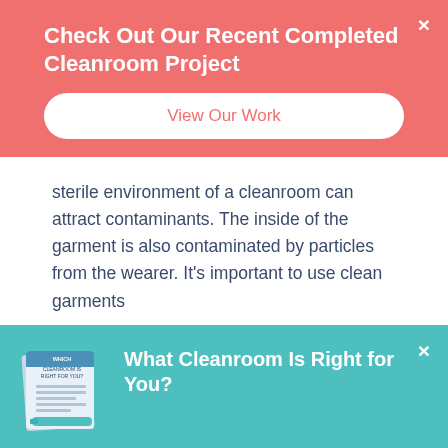Check Out Our Recent Completed Cleanroom Project
View Our Work
sterile environment of a cleanroom can attract contaminants. The inside of the garment is also contaminated by particles from the wearer. It’s important to use clean garments
[Figure (illustration): Small brochure/booklet graphic with text 'Which Cleanroom Is Right For You?' and a blue pen/stylus]
What Cleanroom Is Right for You?
Take Our Quiz